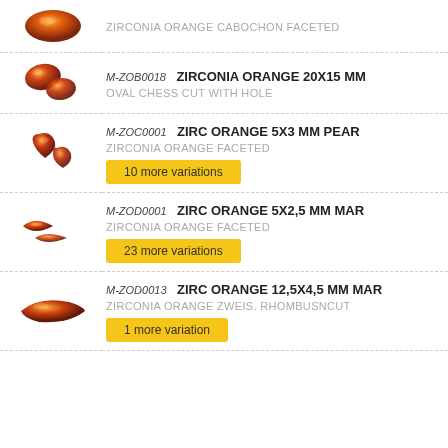| Image | Product Info |
| --- | --- |
| [orange oval gemstone image] | ZIRCONIA ORANGE CABOCHON FACETED |
| [orange oval gems image] | M-ZOB0018 | ZIRCONIA ORANGE 20X15 MM | OVAL CHESS CUT WITH HOLE |
| [orange pear gems image] | M-ZOC0001 | ZIRC ORANGE 5X3 MM PEAR | ZIRCONIA ORANGE FACETED | 10 more variations |
| [orange marquise gems image] | M-ZOD0001 | ZIRC ORANGE 5X2,5 MM MAR | ZIRCONIA ORANGE FACETED | 23 more variations |
| [orange marquise gem image] | M-ZOD0013 | ZIRC ORANGE 12,5X4,5 MM MAR | ZIRCONIA ORANGE ZWEIS. RHOMBUSNCUT | 1 more variation |